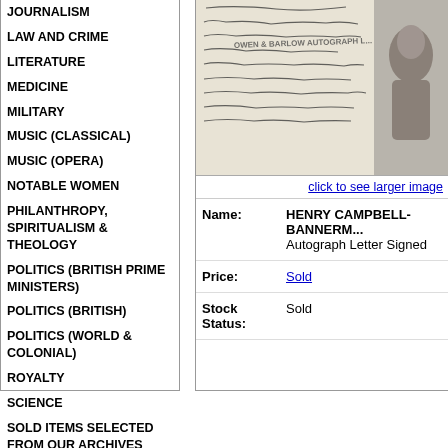JOURNALISM
LAW AND CRIME
LITERATURE
MEDICINE
MILITARY
MUSIC (CLASSICAL)
MUSIC (OPERA)
NOTABLE WOMEN
PHILANTHROPY, SPIRITUALISM & THEOLOGY
POLITICS (BRITISH PRIME MINISTERS)
POLITICS (BRITISH)
POLITICS (WORLD & COLONIAL)
ROYALTY
SCIENCE
SOLD ITEMS SELECTED FROM OUR ARCHIVES
[Figure (photo): Scanned handwritten autograph letter and portrait photograph with OWEN & BARLOW AUTOGRAPH L... watermark overlay]
click to see larger image
| Field | Value |
| --- | --- |
| Name: | HENRY CAMPBELL-BANNERM... Autograph Letter Signed |
| Price: | Sold |
| Stock Status: | Sold |